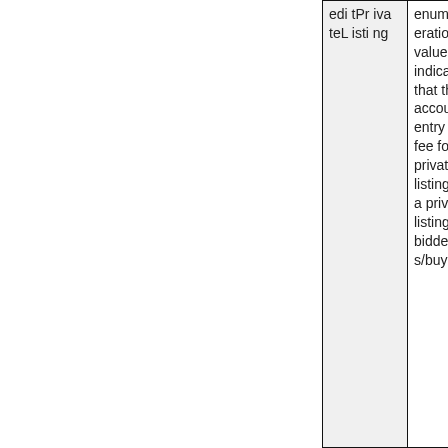|  | editPrivateListing | enumeration value indicates that the account entry is a fee for a private listing. With a private listing, bidders/buy |
| --- | --- | --- |
|  | editPrivateListing | enumeration value indicates that the account entry is a fee for a private listing. With a private listing, bidders/buy |